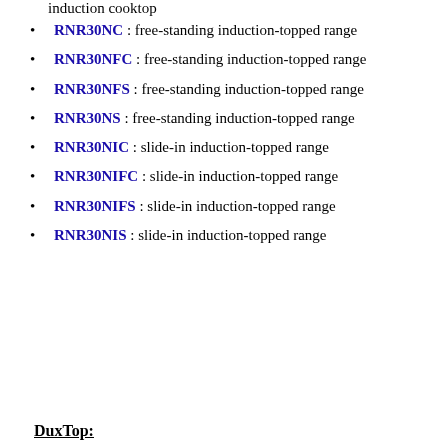induction cooktop
RNR30NC : free-standing induction-topped range
RNR30NFC : free-standing induction-topped range
RNR30NFS : free-standing induction-topped range
RNR30NS : free-standing induction-topped range
RNR30NIC : slide-in induction-topped range
RNR30NIFC : slide-in induction-topped range
RNR30NIFS : slide-in induction-topped range
RNR30NIS : slide-in induction-topped range
DuxTop: